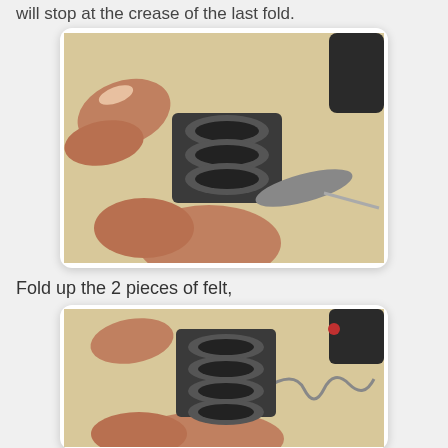will stop at the crease of the last fold.
[Figure (photo): Close-up photo of fingers holding a small piece of dark felt folded into a bow or clip shape, with the folded layers visible. Background is a light wooden surface.]
Fold up the 2 pieces of felt,
[Figure (photo): Close-up photo of fingers holding the same dark felt piece now folded upward showing the stacked layers more compactly. A wire or cord is visible to the right.]